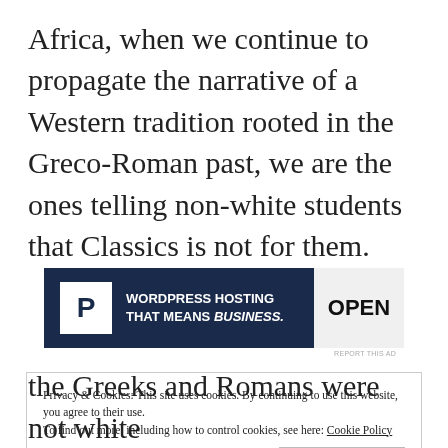Africa, when we continue to propagate the narrative of a Western tradition rooted in the Greco-Roman past, we are the ones telling non-white students that Classics is not for them.
[Figure (screenshot): Advertisement banner: 'WORDPRESS HOSTING THAT MEANS BUSINESS.' with a P logo on the left and an OPEN sign on the right.]
REPORT THIS AD
Privacy & Cookies: This site uses cookies. By continuing to use this website, you agree to their use.
To find out more, including how to control cookies, see here: Cookie Policy
[Close and accept]
the Greeks and Romans were not white